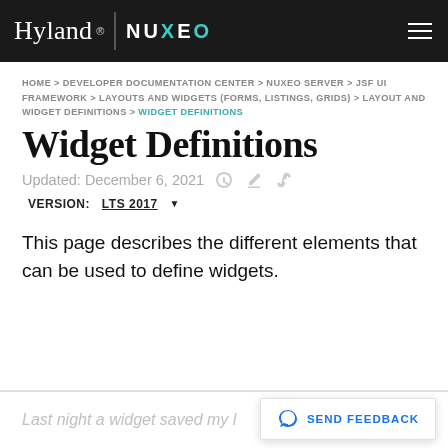Hyland | NUXEO
HOME > DEVELOPER DOCUMENTATION CENTER > NUXEO SERVER > JSF UI FRAMEWORK > LAYOUTS AND WIDGETS (FORMS, LISTINGS, GRIDS) > LAYOUT AND WIDGET DEFINITIONS > WIDGET DEFINITIONS
Widget Definitions
Updated: December 6, 2021
VERSION: LTS 2017 ▾
This page describes the different elements that can be used to define widgets.
Last night a widget saved my l
SEND FEEDBACK